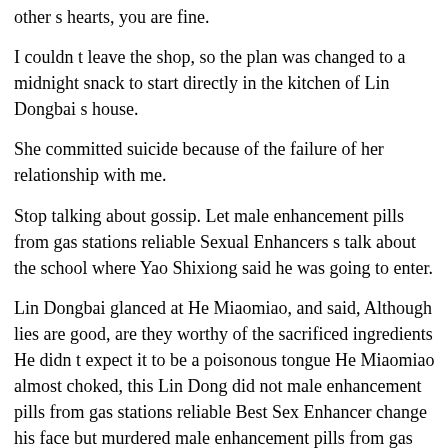other s hearts, you are fine.
I couldn t leave the shop, so the plan was changed to a midnight snack to start directly in the kitchen of Lin Dongbai s house.
She committed suicide because of the failure of her relationship with me.
Stop talking about gossip. Let male enhancement pills from gas stations reliable Sexual Enhancers s talk about the school where Yao Shixiong said he was going to enter.
Lin Dongbai glanced at He Miaomiao, and said, Although lies are good, are they worthy of the sacrificed ingredients He didn t expect it to be a poisonous tongue He Miaomiao almost choked, this Lin Dong did not male enhancement pills from gas stations reliable Best Sex Enhancer change his face but murdered male enhancement pills from gas stations reliable Top Ten Sex Pills invisible.
Come here. Everyone didn t care when they saw it, but Brother Yao Shi saw him.
In the city of Jinan, no one dared to break penis extended ground on Tai tevida reviews Sui s head.